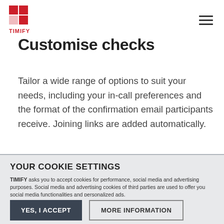TIMIFY
Customise checks
Tailor a wide range of options to suit your needs, including your in-call preferences and the format of the confirmation email participants receive. Joining links are added automatically.
YOUR COOKIE SETTINGS
TIMIFY asks you to accept cookies for performance, social media and advertising purposes. Social media and advertising cookies of third parties are used to offer you social media functionalities and personalized ads.
To get more information or amend your preferences, press the 'more information' button or visit "Cookie Settings" at the bottom of the website. To get more information about these cookies and the processing of your personal data, check our Privacy & Cookie Policy. Do you accept these cookies and the processing of personal data involved?
YES, I ACCEPT | MORE INFORMATION